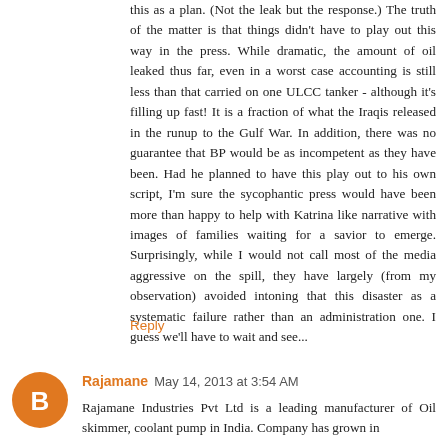this as a plan. (Not the leak but the response.) The truth of the matter is that things didn't have to play out this way in the press. While dramatic, the amount of oil leaked thus far, even in a worst case accounting is still less than that carried on one ULCC tanker - although it's filling up fast! It is a fraction of what the Iraqis released in the runup to the Gulf War. In addition, there was no guarantee that BP would be as incompetent as they have been. Had he planned to have this play out to his own script, I'm sure the sycophantic press would have been more than happy to help with Katrina like narrative with images of families waiting for a savior to emerge. Surprisingly, while I would not call most of the media aggressive on the spill, they have largely (from my observation) avoided intoning that this disaster as a systematic failure rather than an administration one. I guess we'll have to wait and see...
Reply
Rajamane May 14, 2013 at 3:54 AM
Rajamane Industries Pvt Ltd is a leading manufacturer of Oil skimmer, coolant pump in India. Company has grown in